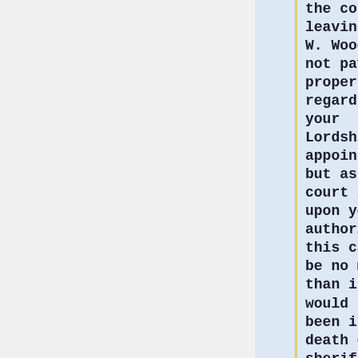the court in leaving out W. Woods did not pay proper regard to your Lordships appointment, but as the court looked upon your authority in this case to be no more than it would have been in the death of a sherif where the power of